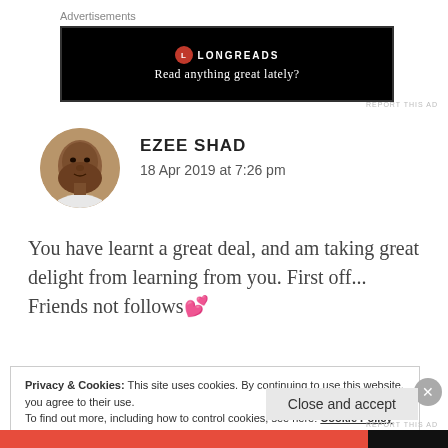Advertisements
[Figure (screenshot): Longreads advertisement banner with black background. Logo with red circle and 'L', text 'LONGREADS' and tagline 'Read anything great lately?']
REPORT THIS AD
[Figure (photo): Circular avatar photo of a person (Ezee Shad)]
EZEE SHAD
18 Apr 2019 at 7:26 pm
You have learnt a great deal, and am taking great delight from learning from you. First off... Friends not follows💕
Privacy & Cookies: This site uses cookies. By continuing to use this website, you agree to their use.
To find out more, including how to control cookies, see here: Cookie Policy
Close and accept
REPORT THIS AD